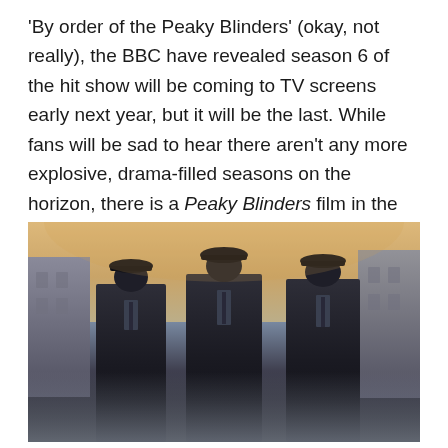'By order of the Peaky Blinders' (okay, not really), the BBC have revealed season 6 of the hit show will be coming to TV screens early next year, but it will be the last. While fans will be sad to hear there aren't any more explosive, drama-filled seasons on the horizon, there is a Peaky Blinders film in the works, expected to pick up where season six will end.
[Figure (photo): Three men in period-appropriate dark suits and flat caps standing in a misty street scene with warm golden sky behind them, resembling a promotional still from the TV show Peaky Blinders.]